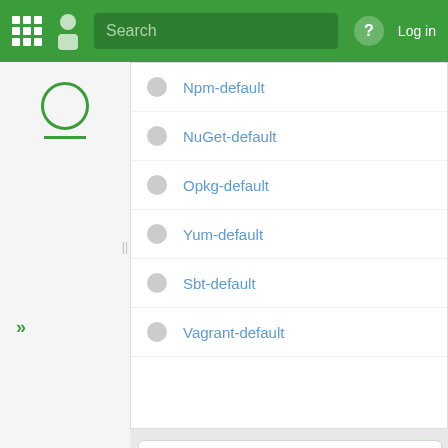[Figure (screenshot): Green navigation bar with grid icon, person icon, search box, help button, and Log in text]
Npm-default
NuGet-default
Opkg-default
Yum-default
Sbt-default
Vagrant-default
Filtering and deleting
Start typing the name of a rule in the filter box to find the rule you are looking for.
Hover over a rule and click the delete icon on the right to delete it, or select a